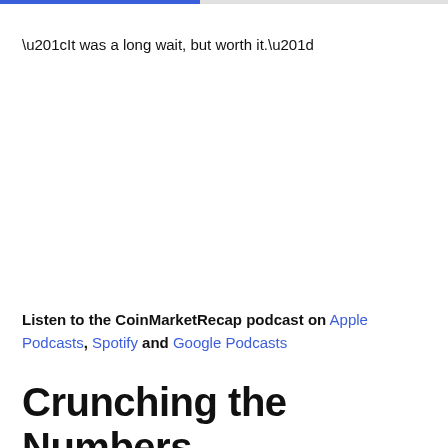“It was a long wait, but worth it.”
Listen to the CoinMarketRecap podcast on Apple Podcasts, Spotify and Google Podcasts
Crunching the Numbers